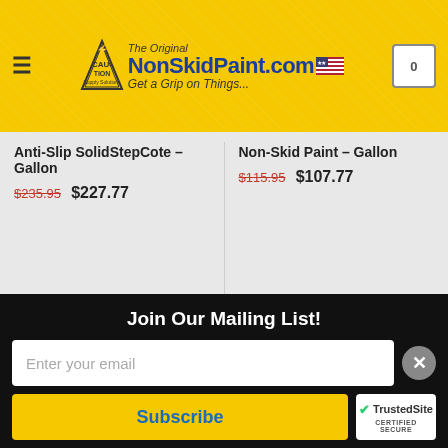[Figure (screenshot): NonSkidPaint.com website header with yellow textured background, hamburger menu icon, logo with caution triangle, site name 'The Original Non Skid Paint.com Get a Grip on Things...' with US flag, and shopping cart icon showing 0]
Anti-Slip SolidStepCote – Gallon
$235.95  $227.77
Non-Skid Paint – Gallon
$115.95  $107.77
Non-Skid Paint – Applications
[Figure (photo): Outdoor scene showing boat/marine hardware with metal railings and ropes, teal/green tarps and equipment visible in background]
Join Our Mailing List!
Enter your email
Subscribe
[Figure (logo): TrustedSite Certified Secure badge with green checkmark]